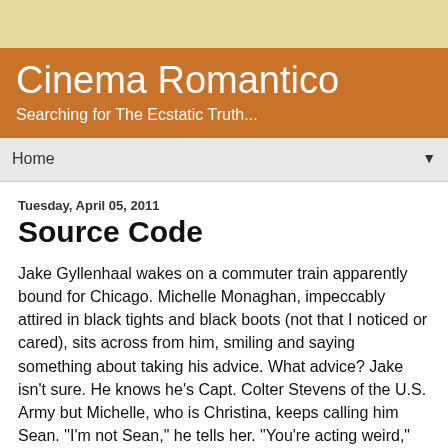Cinema Romantico
Searching for The Ecstatic Truth...
Home
Tuesday, April 05, 2011
Source Code
Jake Gyllenhaal wakes on a commuter train apparently bound for Chicago. Michelle Monaghan, impeccably attired in black tights and black boots (not that I noticed or cared), sits across from him, smiling and saying something about taking his advice. What advice? Jake isn't sure. He knows he's Capt. Colter Stevens of the U.S. Army but Michelle, who is Christina, keeps calling him Sean. "I'm not Sean," he tells her. "You're acting weird," she says. He goes to the bathroom, disoriented, looks at himself in the mirror and sees someone else looking back at him. Huh. That must be